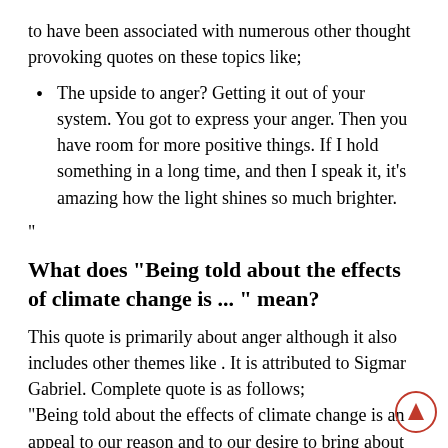to have been associated with numerous other thought provoking quotes on these topics like;
The upside to anger? Getting it out of your system. You got to express your anger. Then you have room for more positive things. If I hold something in a long time, and then I speak it, it's amazing how the light shines so much brighter.
"
What does "Being told about the effects of climate change is ... " mean?
This quote is primarily about anger although it also includes other themes like . It is attributed to Sigmar Gabriel. Complete quote is as follows;
"Being told about the effects of climate change is an appeal to our reason and to our desire to bring about change. But to see that Africans are the hardest hit by climate change, even though they generate almost no